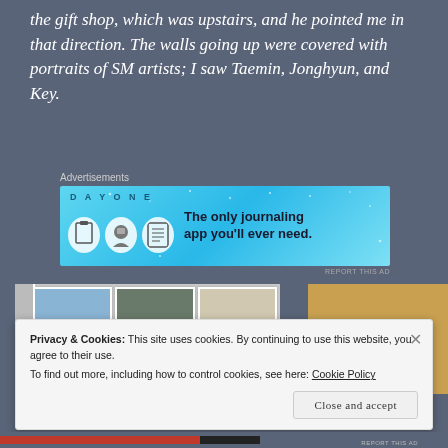the gift shop, which was upstairs, and he pointed me in that direction. The walls going up were covered with portraits of SM artists; I saw Taemin, Jonghyun, and Key.
[Figure (other): Advertisement banner for DAY ONE journaling app with light blue background, icons, and text 'The only journaling app you'll ever need.']
[Figure (photo): A photo strip showing framed portrait pictures on a wall on the left side, and a warm yellow/orange lit interior on the right side.]
Privacy & Cookies: This site uses cookies. By continuing to use this website, you agree to their use.
To find out more, including how to control cookies, see here: Cookie Policy